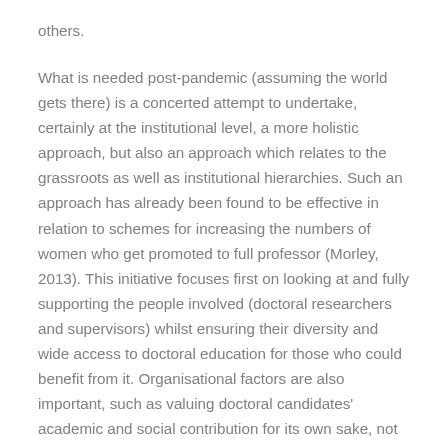others.
What is needed post-pandemic (assuming the world gets there) is a concerted attempt to undertake, certainly at the institutional level, a more holistic approach, but also an approach which relates to the grassroots as well as institutional hierarchies. Such an approach has already been found to be effective in relation to schemes for increasing the numbers of women who get promoted to full professor (Morley, 2013). This initiative focuses first on looking at and fully supporting the people involved (doctoral researchers and supervisors) whilst ensuring their diversity and wide access to doctoral education for those who could benefit from it. Organisational factors are also important, such as valuing doctoral candidates' academic and social contribution for its own sake, not as a source of cheap research and teaching labour, making doctoral researchers more visible and more important in their institutions, and ensuring organisational processes and